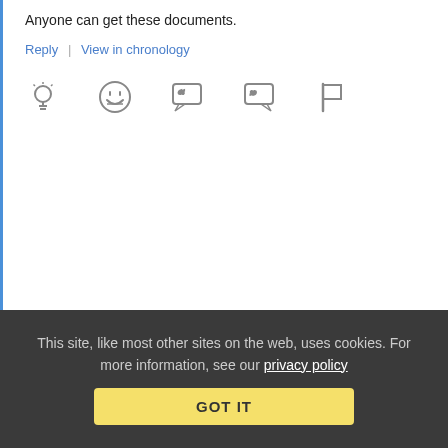Anyone can get these documents.
Reply | View in chronology
[Figure (infographic): Row of 5 grey comment/reaction icons: lightbulb, laughing emoji, left-quote speech bubble, right-quote speech bubble, flag]
[Figure (infographic): Blue stacked pages icon with [2] count badge]
[Figure (infographic): Green pixelated avatar icon for Anonymous Coward]
Anonymous Coward
October 12, 2011 at 11:06 am
This site, like most other sites on the web, uses cookies. For more information, see our privacy policy
GOT IT